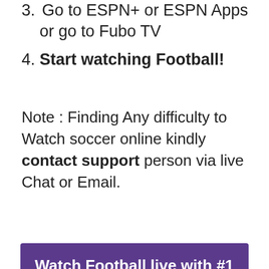3. Go to ESPN+ or ESPN Apps or go to Fubo TV
4. Start watching Football!
Note : Finding Any difficulty to Watch soccer online kindly contact support person via live Chat or Email.
Watch Football live with #1 VPN
First Time Meetings